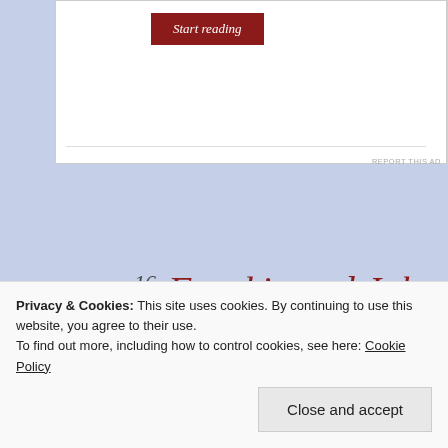[Figure (screenshot): White card area with 'Start reading' button in dark red]
REPORT THIS AD
16
Sunday
Jun 2013
Frankie and Johnny
Posted by vinnieh in Movie Reviews
≈ 22 Comments
Film Title
Privacy & Cookies: This site uses cookies. By continuing to use this website, you agree to their use.
To find out more, including how to control cookies, see here: Cookie Policy
Close and accept